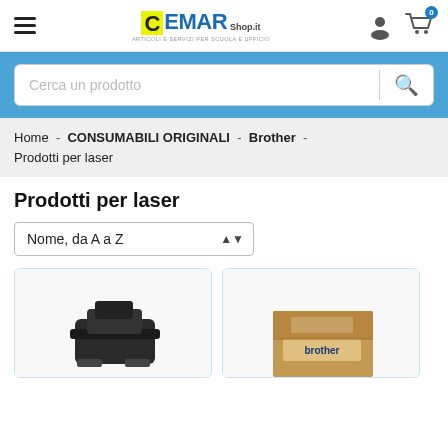CEMAR Shop — navigation header with hamburger menu, logo, user icon, and cart icon
Cerca un prodotto
Home - CONSUMABILI ORIGINALI - Brother - Prodotti per laser
Prodotti per laser
Nome, da A a Z
[Figure (photo): Two product cards partially visible at bottom: left card shows a dark toner cartridge, right card shows a Brother branded box]
[Figure (photo): Right product card showing a Brother branded cardboard box product]